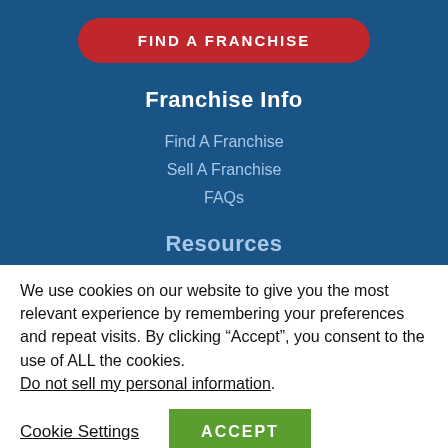[Figure (screenshot): Red pill-shaped button with white uppercase text FIND A FRANCHISE on blue background]
Franchise Info
Find A Franchise
Sell A Franchise
FAQs
Resources
We use cookies on our website to give you the most relevant experience by remembering your preferences and repeat visits. By clicking “Accept”, you consent to the use of ALL the cookies. Do not sell my personal information.
Cookie Settings
ACCEPT